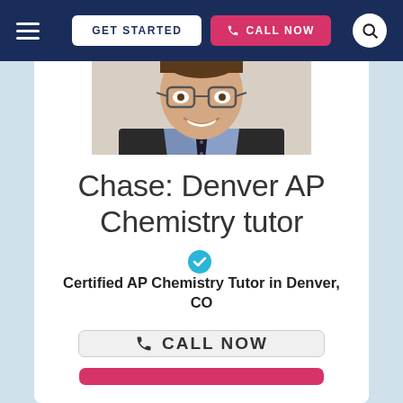GET STARTED   CALL NOW
[Figure (photo): Headshot photo of Chase, a young man wearing glasses, a black blazer, blue button-down shirt, and dark dotted tie, smiling at the camera against a light background.]
Chase: Denver AP Chemistry tutor
Certified AP Chemistry Tutor in Denver, CO
CALL NOW
(pink button partially visible)